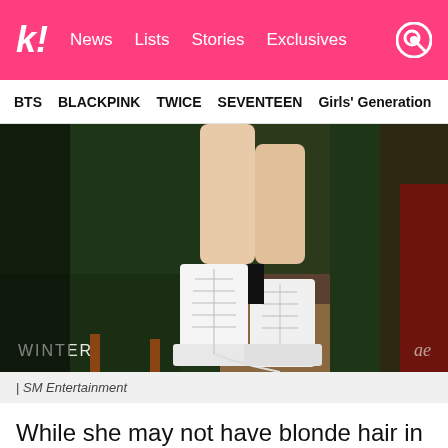k! News Lists Stories Exclusives
BTS  BLACKPINK  TWICE  SEVENTEEN  Girls' Generation
[Figure (photo): Close-up photo of a person's legs wearing white lace-up platform boots, seated on a dark green leather sofa. Text 'WINTER' and an 'ae' logo appear in the lower corners of the image.]
| SM Entertainment
While she may not have blonde hair in these